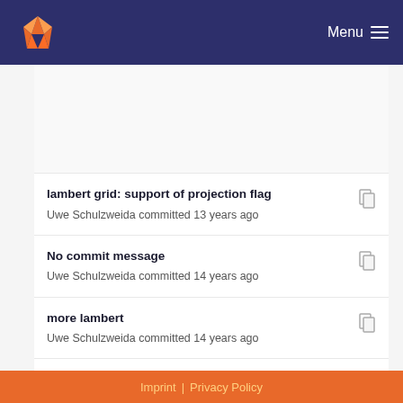GitLab — Menu
lambert grid: support of projection flag
Uwe Schulzweida committed 13 years ago
No commit message
Uwe Schulzweida committed 14 years ago
more lambert
Uwe Schulzweida committed 14 years ago
add env CDI_SORTNAME to sort netCDF names
Uwe Schulzweida committed 13 years ago
Imprint | Privacy Policy